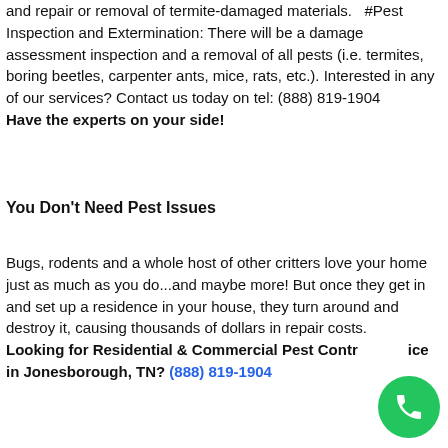and repair or removal of termite-damaged materials.   #Pest Inspection and Extermination: There will be a damage assessment inspection and a removal of all pests (i.e. termites, boring beetles, carpenter ants, mice, rats, etc.). Interested in any of our services? Contact us today on tel: (888) 819-1904
Have the experts on your side!
You Don't Need Pest Issues
Bugs, rodents and a whole host of other critters love your home just as much as you do...and maybe more! But once they get in and set up a residence in your house, they turn around and destroy it, causing thousands of dollars in repair costs.
Looking for Residential & Commercial Pest Control Service in Jonesborough, TN? (888) 819-1904